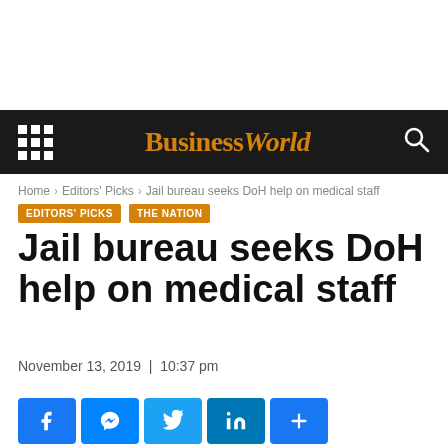BusinessWorld
Home › Editors' Picks › Jail bureau seeks DoH help on medical staff
EDITORS' PICKS   THE NATION
Jail bureau seeks DoH help on medical staff
November 13, 2019 | 10:37 pm
[Figure (other): Social sharing buttons: Facebook, Messenger, Twitter, LinkedIn, More]